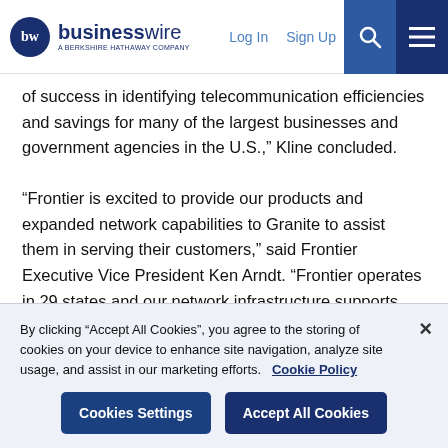[Figure (logo): BusinessWire logo - a Berkshire Hathaway company, with circular BW icon and nav links for Log In, Sign Up, search and menu icons]
of success in identifying telecommunication efficiencies and savings for many of the largest businesses and government agencies in the U.S.," Kline concluded.

“Frontier is excited to provide our products and expanded network capabilities to Granite to assist them in serving their customers,” said Frontier Executive Vice President Ken Arndt. “Frontier operates in 29 states and our network infrastructure supports some of the largest online retailers, manufacturers, public safety organizations, and governmental entities across the entire country. This agreement enables Frontier and Granite to leverage their
By clicking “Accept All Cookies”, you agree to the storing of cookies on your device to enhance site navigation, analyze site usage, and assist in our marketing efforts.   Cookie Policy